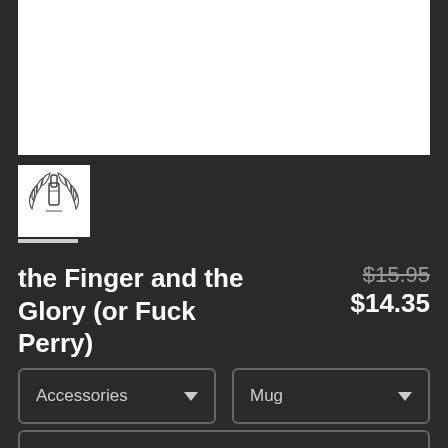[Figure (photo): White product image box (main view area) on dark background]
[Figure (illustration): Thumbnail showing a hand making a middle finger gesture surrounded by a laurel wreath, black and white illustration]
the Finger and the Glory (or Fuck Perry)
$15.95 $14.35
Accessories ▼
Mug ▼
Standard ▼